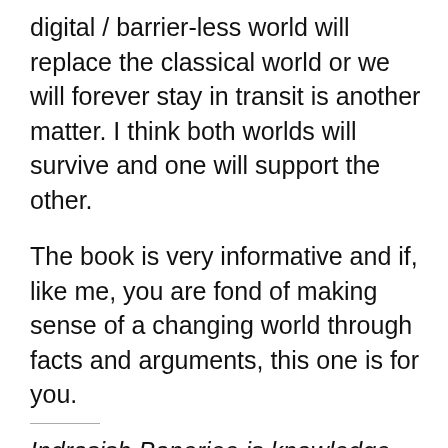digital / barrier-less world will replace the classical world or we will forever stay in transit is another matter. I think both worlds will survive and one will support the other.
The book is very informative and if, like me, you are fond of making sense of a changing world through facts and arguments, this one is for you.
Indrasish Banerjee is knowledge management specialist with an IT company, a blogger, fiction writer and professional reviewer.